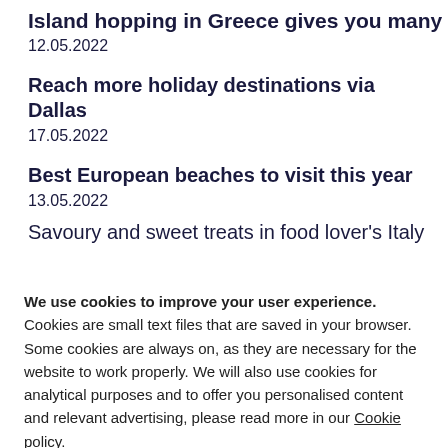Island hopping in Greece gives you many holidays in one
12.05.2022
Reach more holiday destinations via Dallas
17.05.2022
Best European beaches to visit this year
13.05.2022
Savoury and sweet treats in food lover's Italy
We use cookies to improve your user experience. Cookies are small text files that are saved in your browser. Some cookies are always on, as they are necessary for the website to work properly. We will also use cookies for analytical purposes and to offer you personalised content and relevant advertising, please read more in our Cookie policy. By continuing to browse the website, you agree to our use of cookies. You can change your cookie preferences at any time.
Close
Set your cookie preferences